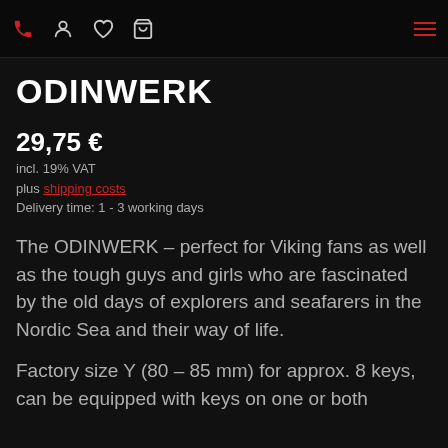Navigation bar with phone, user, heart, cart icons and hamburger menu
ODINWERK
29,75 €
incl. 19% VAT
plus shipping costs
Delivery time: 1 - 3 working days
The ODINWERK – perfect for Viking fans as well as the tough guys and girls who are fascinated by the old days of explorers and seafarers in the Nordic Sea and their way of life.
Factory size Y (80 – 85 mm) for approx. 8 keys, can be equipped with keys on one or both